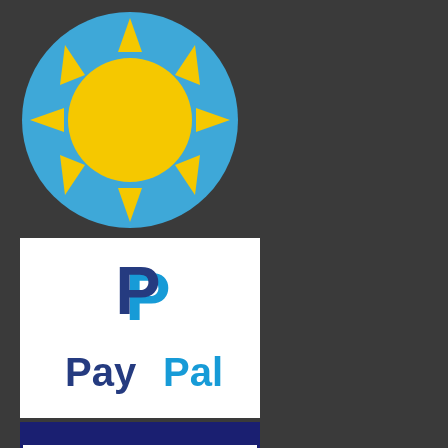[Figure (logo): Sun logo with yellow sun circle and blue background circle with triangular sun rays]
[Figure (logo): PayPal logo on white background with dark blue and light blue double-P icon and PayPal text]
[Figure (logo): Visa logo on white background with dark blue bar and VISA text]